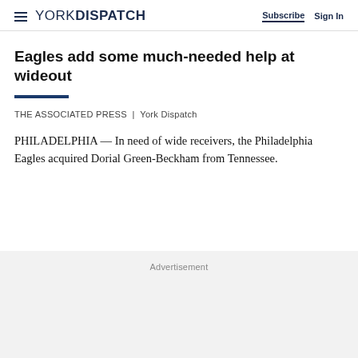YORK DISPATCH | Subscribe  Sign In
Eagles add some much-needed help at wideout
THE ASSOCIATED PRESS | York Dispatch
PHILADELPHIA — In need of wide receivers, the Philadelphia Eagles acquired Dorial Green-Beckham from Tennessee.
Advertisement